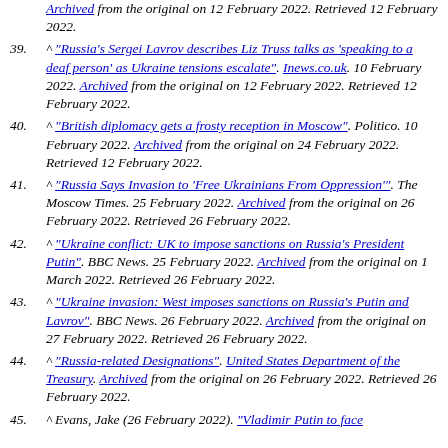(continuation) Archived from the original on 12 February 2022. Retrieved 12 February 2022.
39. ^ "Russia's Sergei Lavrov describes Liz Truss talks as 'speaking to a deaf person' as Ukraine tensions escalate". Inews.co.uk. 10 February 2022. Archived from the original on 12 February 2022. Retrieved 12 February 2022.
40. ^ "British diplomacy gets a frosty reception in Moscow". Politico. 10 February 2022. Archived from the original on 24 February 2022. Retrieved 12 February 2022.
41. ^ "Russia Says Invasion to 'Free Ukrainians From Oppression'". The Moscow Times. 25 February 2022. Archived from the original on 26 February 2022. Retrieved 26 February 2022.
42. ^ "Ukraine conflict: UK to impose sanctions on Russia's President Putin". BBC News. 25 February 2022. Archived from the original on 1 March 2022. Retrieved 26 February 2022.
43. ^ "Ukraine invasion: West imposes sanctions on Russia's Putin and Lavrov". BBC News. 26 February 2022. Archived from the original on 27 February 2022. Retrieved 26 February 2022.
44. ^ "Russia-related Designations". United States Department of the Treasury. Archived from the original on 26 February 2022. Retrieved 26 February 2022.
45. ^ Evans, Jake (26 February 2022). "Vladimir Putin to face ..."